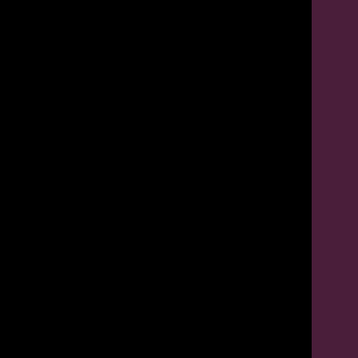Most adventures completed Most missions completed Highest skill total increase Highest ability total increase Highest acquired soul-difference increase
The results are always evaluated for the given period, so